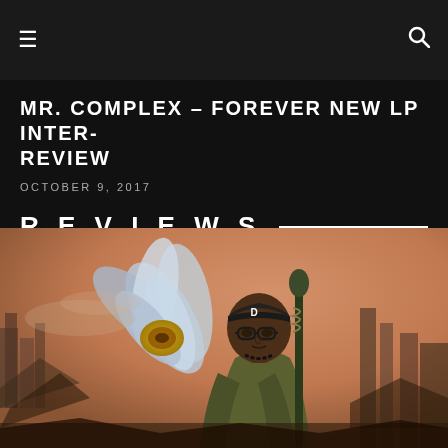≡  🔍
MR. COMPLEX – FOREVER NEW LP INTER-REVIEW
OCTOBER 9, 2017
REVIEWS
[Figure (illustration): Comic-book style illustration of a young Black man wearing glasses and a Detroit 'D' baseball cap, holding a staff, with a large lotus flower and ruined city buildings in the background against a warm sandy/orange sky.]